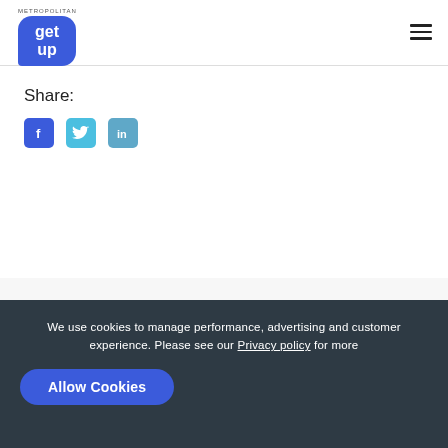METROPOLITAN get up
Share:
[Figure (infographic): Social media share icons: Facebook (blue square with f), Twitter (cyan square with bird), LinkedIn (light blue square with in)]
RELATED
We use cookies to manage performance, advertising and customer experience. Please see our Privacy policy for more
Allow Cookies